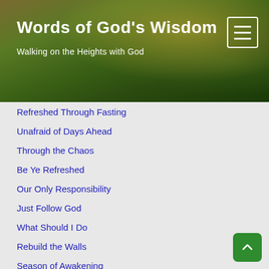Words of God's Wisdom
Walking on the Heights with God
Refreshed Through Fasting
Unafraid of Days Ahead
Through the Chaos
Be Ye Refreshed
Our Only Responsibility
Just Follow God
What Should I Do
Rebuild the Walls
Season of Awakening
Confident Expectation
Heal Our Land
Proclaim
Be Refreshed